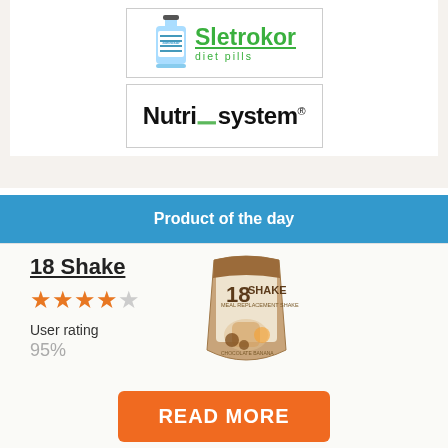[Figure (logo): Sletrokor diet pills logo with bottle image and green text]
[Figure (logo): Nutrisystem logo with green leaf accent on the letter i]
Product of the day
18 Shake
[Figure (illustration): Star rating showing 4 out of 5 stars in orange]
User rating
95%
[Figure (photo): 18 Shake meal replacement shake bag product image]
READ MORE